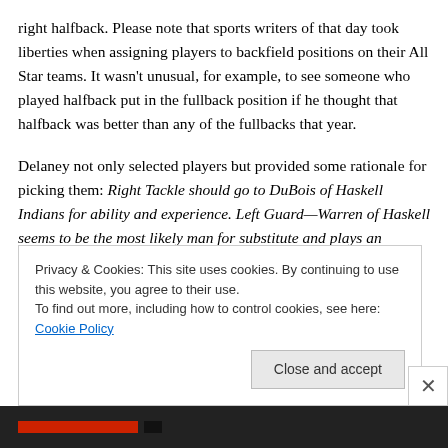right halfback. Please note that sports writers of that day took liberties when assigning players to backfield positions on their All Star teams. It wasn't unusual, for example, to see someone who played halfback put in the fullback position if he thought that halfback was better than any of the fullbacks that year.
Delaney not only selected players but provided some rationale for picking them: Right Tackle should go to DuBois of Haskell Indians for ability and experience. Left Guard—Warren of Haskell seems to be the most likely man for substitute and plays an unusually good game.
Privacy & Cookies: This site uses cookies. By continuing to use this website, you agree to their use. To find out more, including how to control cookies, see here: Cookie Policy